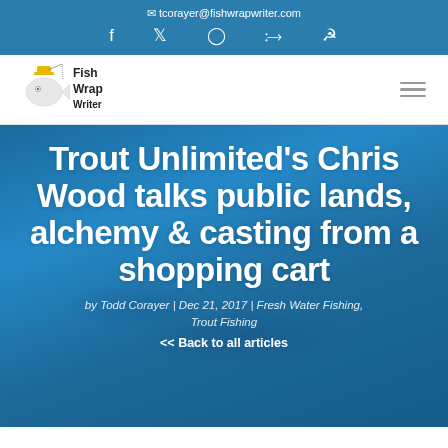tcorayer@fishwrapwriter.com
[Figure (logo): Fish Wrap Writer logo with cartoon fish character and text]
Trout Unlimited's Chris Wood talks public lands, alchemy & casting from a shopping cart
by Todd Corayer | Dec 21, 2017 | Fresh Water Fishing, Trout Fishing
<< Back to all articles